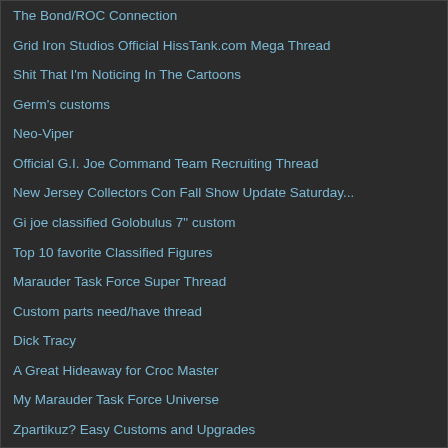The Bond/ROC Connection
Grid Iron Studios Official HissTank.com Mega Thread
Shit That I'm Noticing In The Cartoons
Germ's customs
Neo-Viper
Official G.I. Joe Command Team Recruiting Thread
New Jersey Collectors Con Fall Show Update Saturday...
Gi joe classified Golobulus 7" custom
Top 10 favorite Classified Figures
Marauder Task Force Super Thread
Custom parts need/have thread
Dick Tracy
A Great Hideaway for Croc Master
My Marauder Task Force Universe
Zpartikuz? Easy Customs and Upgrades
Robâ€™s Joes Marauders Style
Super7 Cobra Enemy T-Shirt
Which vehicle would you like to drive yourself?